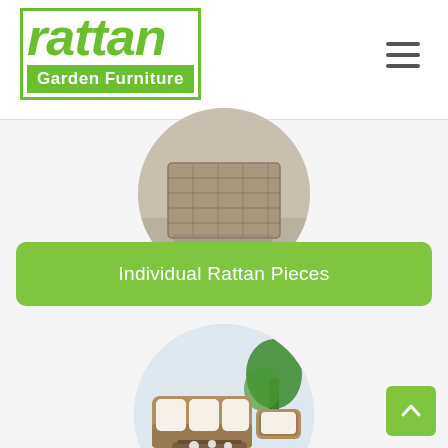[Figure (logo): Rattan Garden Furniture logo with green italic text and green bordered banner]
[Figure (photo): Circular cropped photo showing close-up of grey wicker rattan furniture base on a deck]
Individual Rattan Pieces
[Figure (photo): Circular cropped photo of indoor rattan furniture set with white cushions, sofa, armchair, coffee table, and tropical plant]